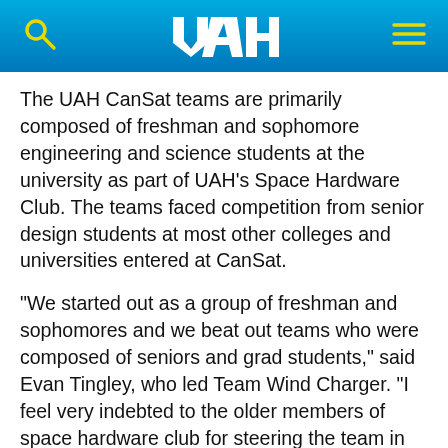UAH
The UAH CanSat teams are primarily composed of freshman and sophomore engineering and science students at the university as part of UAH's Space Hardware Club. The teams faced competition from senior design students at most other colleges and universities entered at CanSat.
"We started out as a group of freshman and sophomores and we beat out teams who were composed of seniors and grad students," said Evan Tingley, who led Team Wind Charger. "I feel very indebted to the older members of space hardware club for steering the team in the right direction and helping us fix problems when we made wrong decisions."